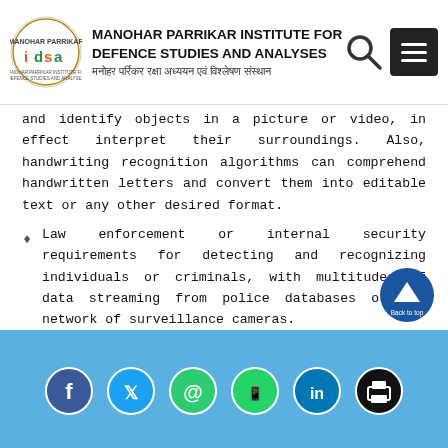MANOHAR PARRIKAR INSTITUTE FOR DEFENCE STUDIES AND ANALYSES | मनोहर पर्रिकर रक्षा अध्ययन एवं विश्लेषण संस्थान
and identify objects in a picture or video, in effect interpret their surroundings. Also, handwriting recognition algorithms can comprehend handwritten letters and convert them into editable text or any other desired format.
Law enforcement or internal security requirements for detecting and recognizing individuals or criminals, with multitudes of data streaming from police databases or the network of surveillance cameras.
Healthcare industry to design optimized treatment plans, assistance in repetitive jobs, data management for medical records, or even assista...
Social media links: Facebook, Twitter, Email, WhatsApp, LinkedIn, Print